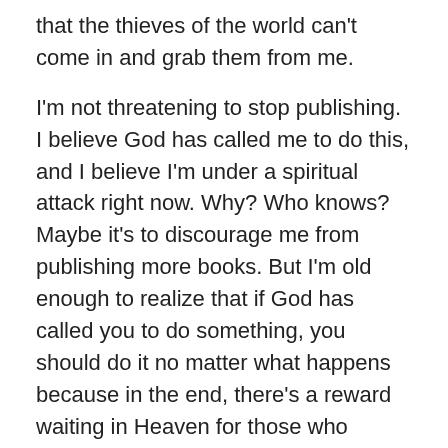that the thieves of the world can't come in and grab them from me.
I'm not threatening to stop publishing. I believe God has called me to do this, and I believe I'm under a spiritual attack right now. Why? Who knows? Maybe it's to discourage me from publishing more books. But I'm old enough to realize that if God has called you to do something, you should do it no matter what happens because in the end, there's a reward waiting in Heaven for those who faithfully pursue His will. This isn't about me. This isn't about my books. This is about doing the will of God.
I'm just ranting in this blog post to get this stuff off my chest. It's been building up all week, and when I received word that a thief (or thieves) were trying to get yet another